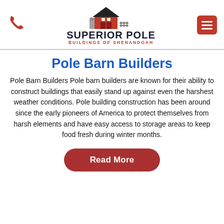[Figure (logo): Superior Pole Buildings of Shenandoah logo with red barn illustration and bold text]
Pole Barn Builders
Pole Barn Builders Pole barn builders are known for their ability to construct buildings that easily stand up against even the harshest weather conditions. Pole building construction has been around since the early pioneers of America to protect themselves from harsh elements and have easy access to storage areas to keep food fresh during winter months.
Read More